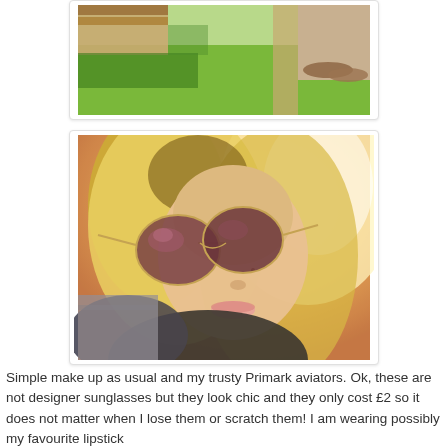[Figure (photo): Partial outdoor photo showing grass and a wooden bench/table, cropped at the top of the page]
[Figure (photo): Close-up selfie of a blonde woman wearing aviator sunglasses, bright sunlight creating a warm glow, wearing dark top]
Simple make up as usual and my trusty Primark aviators. Ok, these are not designer sunglasses but they look chic and they only cost £2 so it does not matter when I lose them or scratch them! I am wearing possibly my favourite lipstick